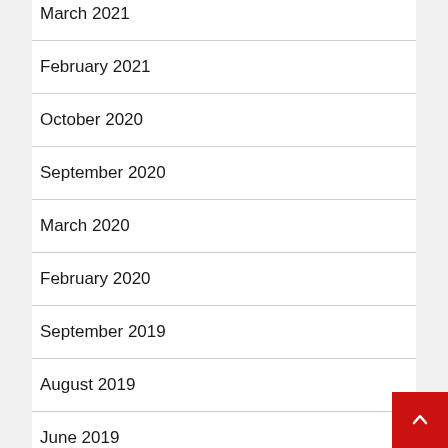March 2021
February 2021
October 2020
September 2020
March 2020
February 2020
September 2019
August 2019
June 2019